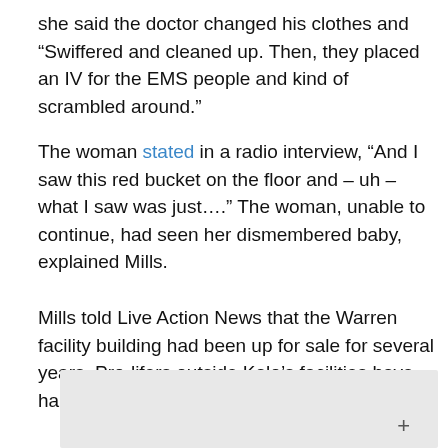she said the doctor changed his clothes and “Swiffered and cleaned up. Then, they placed an IV for the EMS people and kind of scrambled around.”
The woman stated in a radio interview, “And I saw this red bucket on the floor and – uh – what I saw was just….” The woman, unable to continue, had seen her dismembered baby, explained Mills.
Mills told Live Action News that the Warren facility building had been up for sale for several years. Pro-lifers outside Kalo’s facilities have had interesting interactions with the abortionist.
[Figure (photo): A photo partially visible at the bottom of the page, with a small cross or plus mark visible in the lower right corner of the image.]